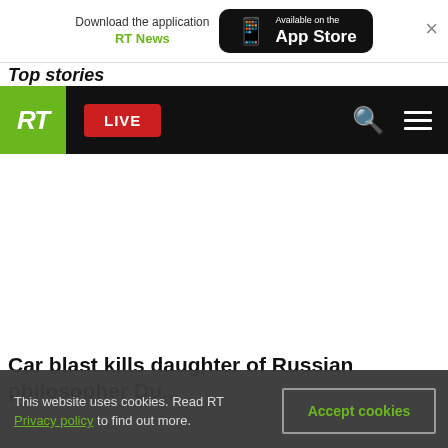[Figure (screenshot): App store download banner with RT News branding and Available on the App Store button, with close X]
Top stories
[Figure (screenshot): RT navigation bar with green RT logo, red LIVE button, search icon, and hamburger menu on black background]
Car blast kills daughter of Russian philosopher Du...
This website uses cookies. Read RT Privacy policy to find out more.
Accept cookies